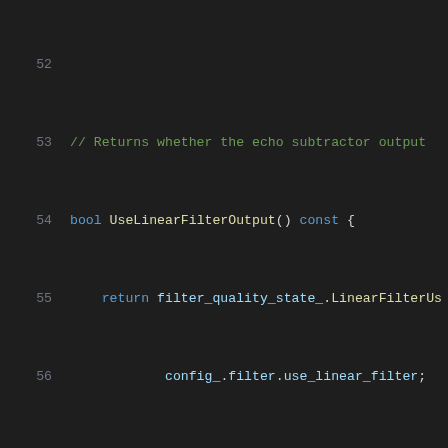[Figure (screenshot): Source code snippet in dark theme IDE showing C++ class methods including UseLinearFilterOutput(), ActiveRender(), GetResidualEchoScaling(), UseStationarityProperties(), and a comment for ERLE. Line numbers 52-72 visible.]